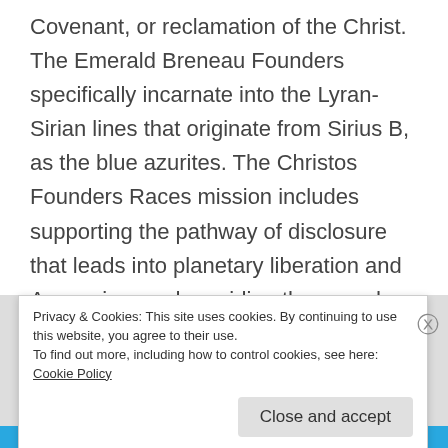Covenant, or reclamation of the Christ. The Emerald Breneau Founders specifically incarnate into the Lyran-Sirian lines that originate from Sirius B, as the blue azurites. The Christos Founders Races mission includes supporting the pathway of disclosure that leads into planetary liberation and Ascension, and providing the records for witness testimony on behalf of the earth and humanity to be freed from their alien oppressors and gain access into the Interdimensional Free World Council.
Privacy & Cookies: This site uses cookies. By continuing to use this website, you agree to their use.
To find out more, including how to control cookies, see here: Cookie Policy